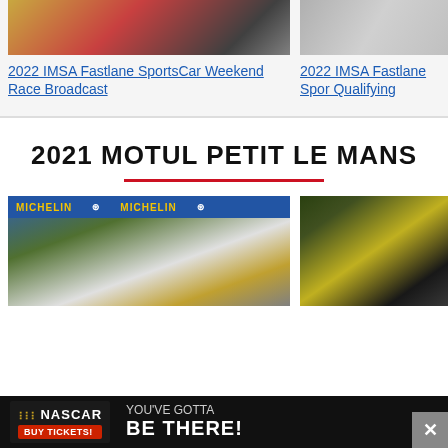[Figure (photo): Racing cars at track - IMSA Fastlane SportsCar Weekend Race]
[Figure (photo): Racing car blurred motion - IMSA Fastlane SportsCar Qualifying]
2022 IMSA Fastlane SportsCar Weekend Race Broadcast
2022 IMSA Fastlane Spor Qualifying
2021 MOTUL PETIT LE MANS
[Figure (photo): Porsche GT race cars at start with Michelin banners]
[Figure (photo): Night racing scene with prototype cars and headlights]
[Figure (photo): NASCAR advertisement banner - YOU'VE GOTTA BE THERE]